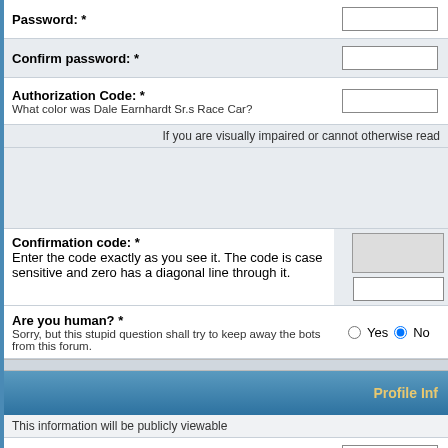Password: *
Confirm password: *
Authorization Code: *
What color was Dale Earnhardt Sr.s Race Car?
If you are visually impaired or cannot otherwise read
Confirmation code: *
Enter the code exactly as you see it. The code is case sensitive and zero has a diagonal line through it.
Are you human? *
Sorry, but this stupid question shall try to keep away the bots from this forum.
Profile Inf
This information will be publicly viewable
ICQ Number:
AIM Address:
MSN Messenger:
Yahoo Messenger:
Website:
Location: